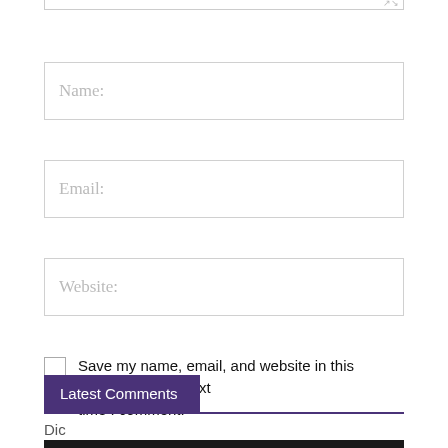[Figure (screenshot): Bottom edge of a comment textarea with resize handle icon in bottom-right corner]
Name:
Email:
Website:
Save my name, email, and website in this browser for the next time I comment.
POST COMMENT
Latest Comments
Dic